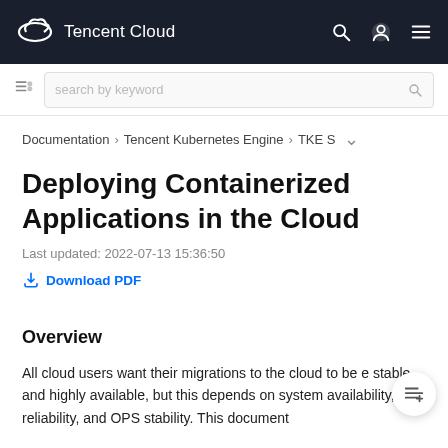Tencent Cloud
search by keyword
Documentation > Tencent Kubernetes Engine > TKE S
Deploying Containerized Applications in the Cloud
Last updated: 2022-07-13 15:36:50
Download PDF
Overview
All cloud users want their migrations to the cloud to be e stable, and highly available, but this depends on system availability, data reliability, and OPS stability. This document